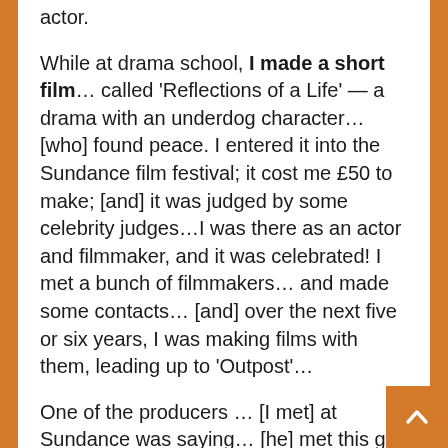actor.
While at drama school, I made a short film... called 'Reflections of a Life' — a drama with an underdog character… [who] found peace. I entered it into the Sundance film festival; it cost me £50 to make; [and] it was judged by some celebrity judges…I was there as an actor and filmmaker, and it was celebrated! I met a bunch of filmmakers… and made some contacts… [and] over the next five or six years, I was making films with them, leading up to 'Outpost'…
One of the producers … [I met] at Sundance was saying… [he] met this guy in Canada and … he wants to make this action film… [with] you as the lead actor… and [he asked] would I do an action movie. Once I'm back in Scotland [and] get the script… before I know it, I'm back on a plane to Toronto… was my first lead in an action film… [a] movie called